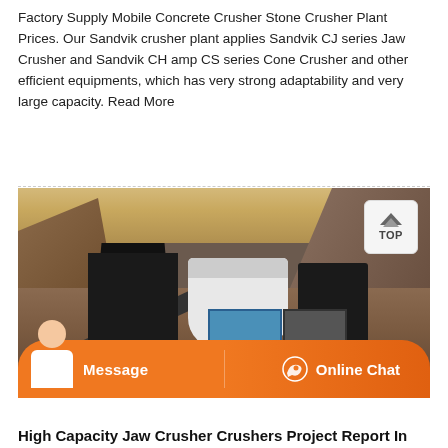Factory Supply Mobile Concrete Crusher Stone Crusher Plant Prices. Our Sandvik crusher plant applies Sandvik CJ series Jaw Crusher and Sandvik CH amp CS series Cone Crusher and other efficient equipments, which has very strong adaptability and very large capacity. Read More
[Figure (photo): Outdoor photo of a mobile stone crusher plant at a quarry site. Large industrial crushing machines in black and white are set up on rocky terrain between hills. A conveyor belt and control boxes are visible. A 'TOP' navigation badge appears in the top-right corner of the image. At the bottom is an orange chat bar with a customer service avatar, Message button, and Online Chat button.]
High Capacity Jaw Crusher Crushers Project Report In